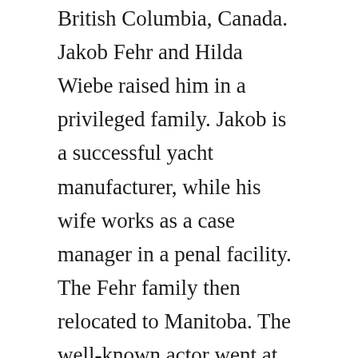British Columbia, Canada. Jakob Fehr and Hilda Wiebe raised him in a privileged family. Jakob is a successful yacht manufacturer, while his wife works as a case manager in a penal facility. The Fehr family then relocated to Manitoba. The well-known actor went at Mennonite Brethren Collegiate Institute and graduated in 1995. Also, have a look at Darci Shaw.
Relationship of Brendan Fehr
Brendan Fehr, a Canadian artist, is married to Jennifer Rowley, a stunning wife. In July of 2006, the pair married. James Olivia, Ellison Jane, and Ondine Carda, the couple's three daughters, were born to them. As of now, the